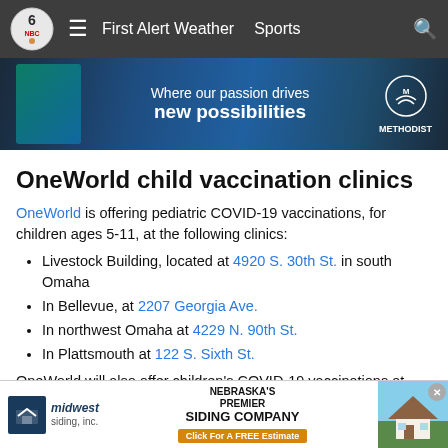First Alert Weather  Sports
[Figure (illustration): Methodist Health advertisement banner: 'Where our passion drives new possibilities' with glasses and lab imagery]
OneWorld child vaccination clinics
OneWorld is offering pediatric COVID-19 vaccinations, for children ages 5-11, at the following clinics:
Livestock Building, located at 4920 S. 30th St. in south Omaha
In Bellevue, at 2207 Georgia Ave.
In northwest Omaha at 4229 N. 90th St.
In Plattsmouth at 122 S. Sixth St.
OneWorld will also offer children's COVID-19 vaccinations at school health centers
B...
[Figure (illustration): Midwest Siding Inc. advertisement: Nebraska's Premier Siding Company. Click For A FREE Estimate]